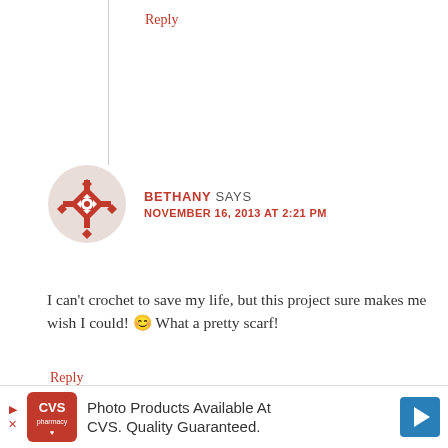Reply
[Figure (illustration): Bethany commenter avatar: red/orange decorative geometric snowflake/mandala pattern in a circle]
BETHANY SAYS
NOVEMBER 16, 2013 AT 2:21 PM
I can’t crochet to save my life, but this project sure makes me wish I could! 😊 What a pretty scarf!
Reply
[Figure (photo): Delia commenter avatar: photo of a woman with dark hair]
DELIA SAYS
[Figure (screenshot): CVS Pharmacy advertisement banner: Photo Products Available At CVS. Quality Guaranteed.]